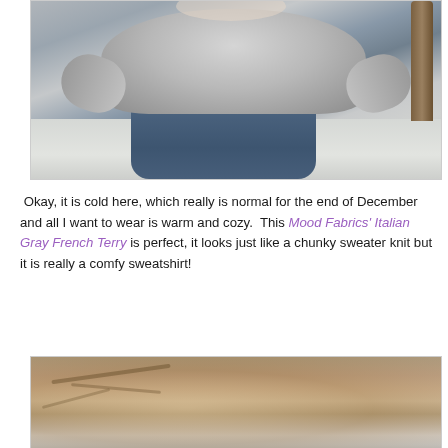[Figure (photo): Woman wearing a gray chunky-looking French terry sweatshirt and blue jeans, standing outdoors in a snowy park setting with bare trees in the background.]
Okay, it is cold here, which really is normal for the end of December and all I want to wear is warm and cozy.  This Mood Fabrics' Italian Gray French Terry is perfect, it looks just like a chunky sweater knit but it is really a comfy sweatshirt!
[Figure (photo): Close-up blurred outdoor winter scene with snow-covered branches and brown leaves, bokeh background.]